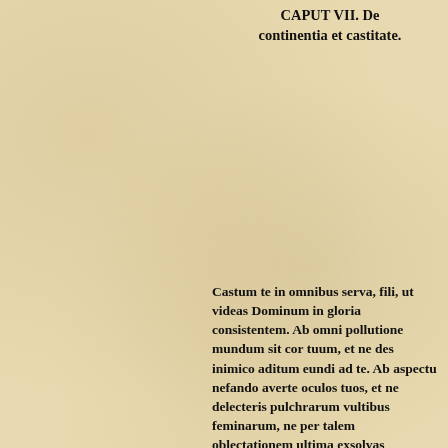CAPUT VII. De continentia et castitate.
Castum te in omnibus serva, fili, ut videas Dominum in gloria consistentem. Ab omni pollutione mundum sit cor tuum, et ne des inimico aditum eundi ad te. Ab aspectu nefando averte oculos tuos, et ne delecteris pulchrarum vultibus feminarum, ne per talem oblectationem ultima exsolvas supplicia. Momento cui